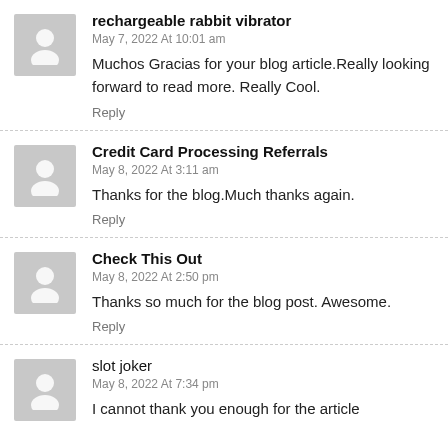rechargeable rabbit vibrator
May 7, 2022 At 10:01 am
Muchos Gracias for your blog article.Really looking forward to read more. Really Cool.
Reply
Credit Card Processing Referrals
May 8, 2022 At 3:11 am
Thanks for the blog.Much thanks again.
Reply
Check This Out
May 8, 2022 At 2:50 pm
Thanks so much for the blog post. Awesome.
Reply
slot joker
May 8, 2022 At 7:34 pm
I cannot thank you enough for the article